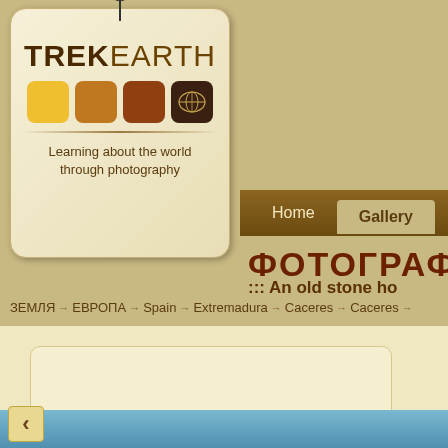[Figure (logo): TrekEarth website logo — a tag-shaped badge with string/circle hanger, bold text TREK EARTH, four colored squares (yellow, gold, brown, dark brown with world map icon), a divider line, and tagline 'Learning about the world through photography']
Home   Gallery   Forums   C…
ФОТОГРАФИИ
ЗЕМЛЯ → ЕВРОПА → Spain → Extremadura → Caceres → Caceres →
::: An old stone ho…